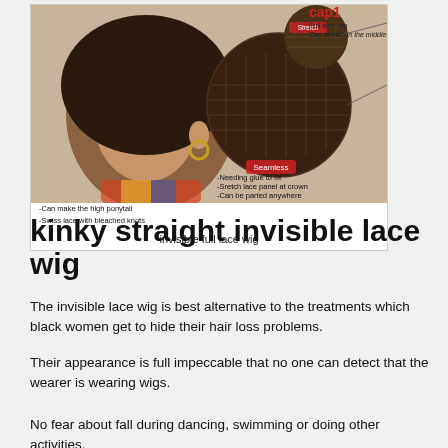[Figure (photo): Product image of an invisible full lace wig showing a woman wearing a kinky straight wig with annotation labels: cap1, Full lace wig, Cap stretch in the middle, Needing glue to fix, Sretch lace panel at crown, Can be parted anywhere, Can make the high ponytail, Swiss lace with bleached knots. Two zoomed-in circular detail insets show the wig cap construction.]
invisible full lace wig
kinky straight invisible lace wig
The invisible lace wig is best alternative to the treatments which black women get to hide their hair loss problems.
Their appearance is full impeccable that no one can detect that the wearer is wearing wigs.
No fear about fall during dancing, swimming or doing other activities.